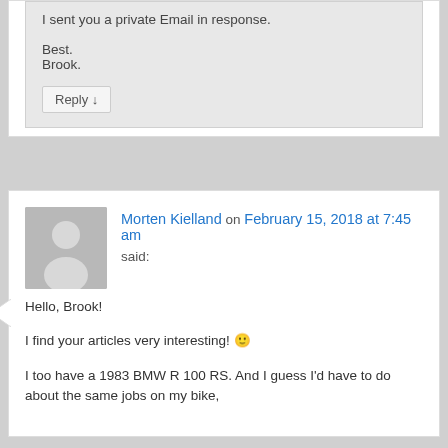I sent you a private Email in response.
Best.
Brook.
Reply ↓
Morten Kielland on February 15, 2018 at 7:45 am said:
Hello, Brook!
I find your articles very interesting! 🙂
I too have a 1983 BMW R 100 RS. And I guess I'd have to do about the same jobs on my bike,